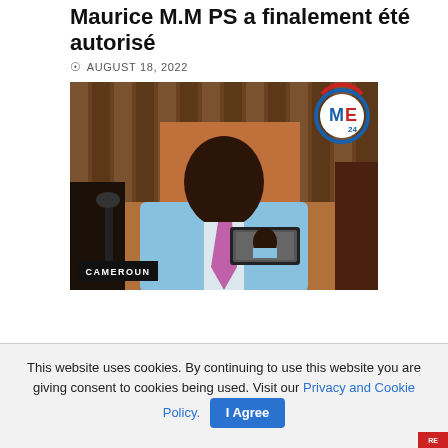Maurice M.M PS a finalement été autorisé
AUGUST 18, 2022
[Figure (photo): Man in a light blue suit with pink tie being interviewed by journalists, with a CAMEROUN badge in the lower left and MF24 logo in the upper right corner]
This website uses cookies. By continuing to use this website you are giving consent to cookies being used. Visit our Privacy and Cookie Policy. I Agree